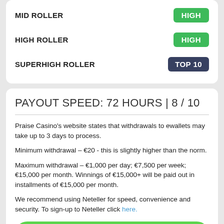MID ROLLER — HIGH
HIGH ROLLER — HIGH
SUPERHIGH ROLLER — TOP 10
PAYOUT SPEED: 72 HOURS | 8 / 10
Praise Casino's website states that withdrawals to ewallets may take up to 3 days to process.
Minimum withdrawal – €20 - this is slightly higher than the norm.
Maximum withdrawal – €1,000 per day; €7,500 per week; €15,000 per month. Winnings of €15,000+ will be paid out in installments of €15,000 per month.
We recommend using Neteller for speed, convenience and security. To sign-up to Neteller click here.
Click here to join neteller